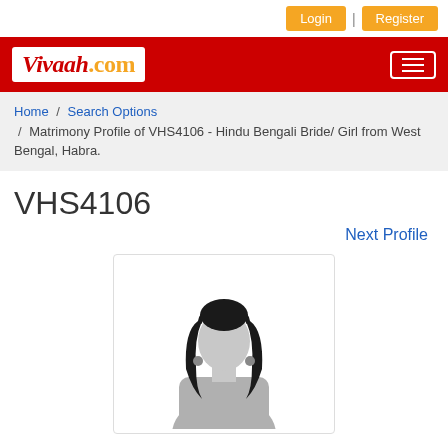Login | Register
[Figure (logo): Vivaah.com logo in red header bar with hamburger menu icon]
Home / Search Options / Matrimony Profile of VHS4106 - Hindu Bengali Bride/ Girl from West Bengal, Habra.
VHS4106
Next Profile
[Figure (illustration): Generic female silhouette placeholder profile photo with black hair and grey outfit]